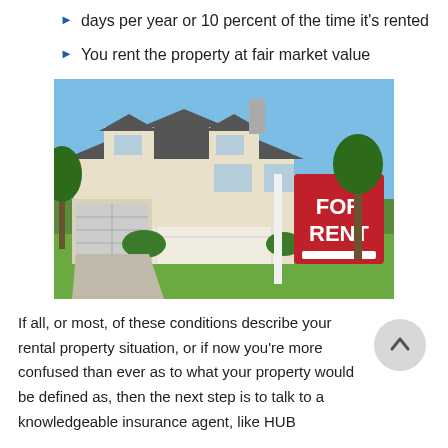days per year or 10 percent of the time it's rented
You rent the property at fair market value
[Figure (photo): A suburban house with a 'FOR RENT' sign in the front yard. Blue sky in the background, green lawn, white siding, and attached garage visible.]
If all, or most, of these conditions describe your rental property situation, or if now you're more confused than ever as to what your property would be defined as, then the next step is to talk to a knowledgeable insurance agent, like HUB